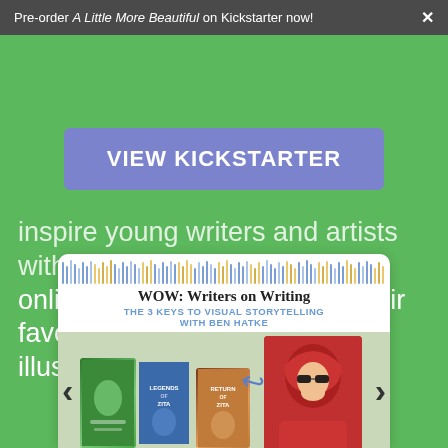Pre-order A Little More Beautiful on Kickstarter now! ×
VIEW KICKSTARTER
inspire young writers and artists with online workshops taught by their favorite published authors & illustrators.
[Figure (screenshot): WOW: Writers on Writing card showing 'THE 3 KEYS TO VISUAL STORYTELLING WITH BEN HATKE' with book covers and a photo of Ben Hatke]
WOW: Writers on Writing THE 3 KEYS TO VISUAL STORYTELLING WITH BEN HATKE